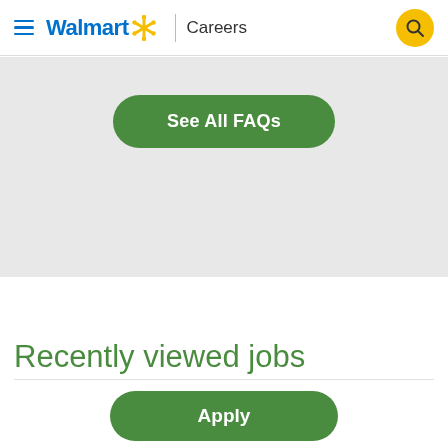Walmart Careers
[Figure (screenshot): Green rounded button labeled 'See All FAQs' on a light gray background]
Recently viewed jobs
[Figure (screenshot): Green rounded 'Apply' button at the bottom of the page]